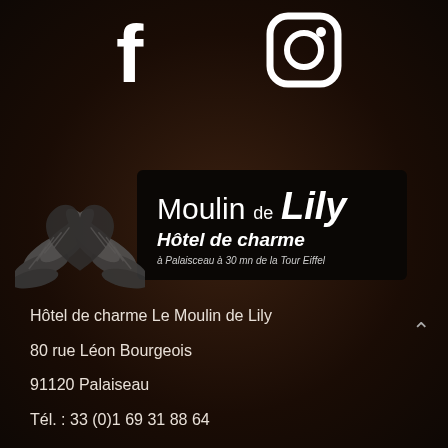[Figure (logo): Facebook and Instagram social media icons in white on dark brown background]
[Figure (logo): Moulin de Lily hotel de charme logo with angel wing heart illustration and black sign reading: Moulin de Lily, Hôtel de charme, à Palaisceau à 30 mn de la Tour Eiffel]
Hôtel de charme Le Moulin de Lily
80 rue Léon Bourgeois
91120 Palaiseau
Tél. : 33 (0)1 69 31 88 64